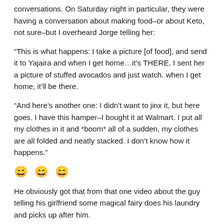conversations. On Saturday night in particular, they were having a conversation about making food–or about Keto, not sure–but I overheard Jorge telling her:
“This is what happens: I take a picture [of food], and send it to Yajaira and when I get home…it’s THERE. I sent her a picture of stuffed avocados and just watch. when I get home, it’ll be there.
“And here’s another one: I didn't want to jinx it, but here goes. I have this hamper–I bought it at Walmart. I put all my clothes in it and *boom* all of a sudden, my clothes are all folded and neatly stacked. I don’t know how it happens.”
😄 😄 😄
He obviously got that from that one video about the guy telling his girlfriend some magical fairy does his laundry and picks up after him.